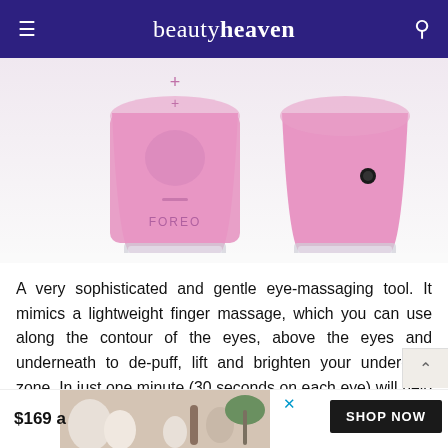beautyheaven
[Figure (photo): Two pink FOREO eye-massaging devices shown front and back view against a light pink/white background. The front view shows the FOREO logo and plus/minus buttons. The back view shows a small black button. Both devices have a clear/transparent base.]
A very sophisticated and gentle eye-massaging tool. It mimics a lightweight finger massage, which you can use along the contour of the eyes, above the eyes and underneath to de-puff, lift and brighten your under-eye zone. In just one minute (30 seconds on each eye) will help to de-puff.
$169 a